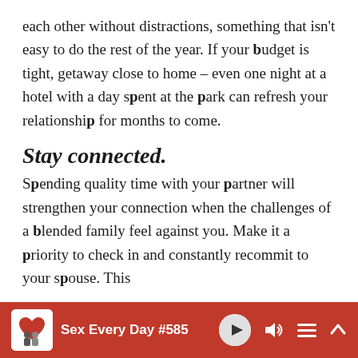each other without distractions, something that isn't easy to do the rest of the year. If your budget is tight, getaway close to home – even one night at a hotel with a day spent at the park can refresh your relationship for months to come.
Stay connected.
Spending quality time with your partner will strengthen your connection when the challenges of a blended family feel against you. Make it a priority to check in and constantly recommit to your spouse. This
Sex Every Day #585